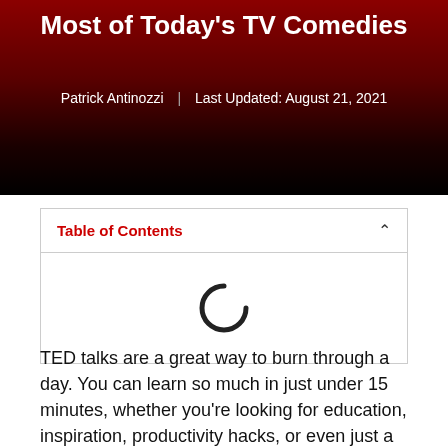Most of Today's TV Comedies
Patrick Antinozzi | Last Updated: August 21, 2021
Table of Contents
[Figure (other): Loading spinner icon inside a Table of Contents box]
TED talks are a great way to burn through a day. You can learn so much in just under 15 minutes, whether you're looking for education, inspiration, productivity hacks, or even just a good laugh. (you may even realize you're addicted to your phone, or that it's time to quit social media)